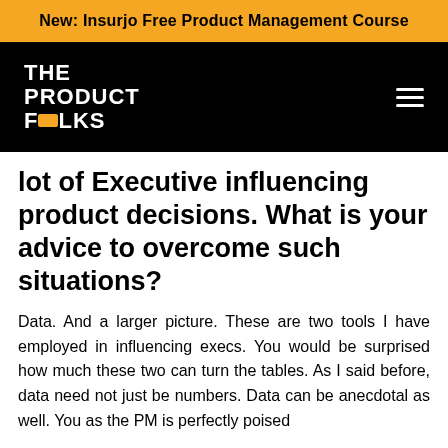New: Insurjo Free Product Management Course
[Figure (logo): The Product Folks logo — white bold text on black background with orange icon replacing 'O' in FOLKS, plus hamburger menu icon on the right]
lot of Executive influencing product decisions. What is your advice to overcome such situations?
Data. And a larger picture. These are two tools I have employed in influencing execs. You would be surprised how much these two can turn the tables. As I said before, data need not just be numbers. Data can be anecdotal as well. You as the PM is perfectly poised